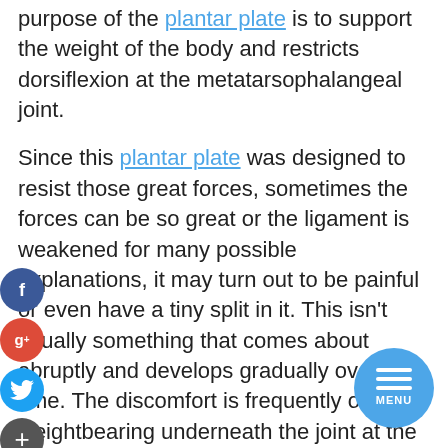purpose of the plantar plate is to support the weight of the body and restricts dorsiflexion at the metatarsophalangeal joint.
Since this plantar plate was designed to resist those great forces, sometimes the forces can be so great or the ligament is weakened for many possible explanations, it may turn out to be painful or even have a tiny split in it. This isn't usually something that comes about abruptly and develops gradually over time. The discomfort is frequently on weightbearing underneath the joint at the bottom of the toe. Palpation of this place is invariably quite painful. Usually the diagnosis can be verified by having an ultrasound assessment. Previously the symptoms may have just been disregarded as a metatarsalgia which is not actually a diagnosis and simply indicates pain across the metatarsals. Now more is known concerning this plantar plate and just how it produces